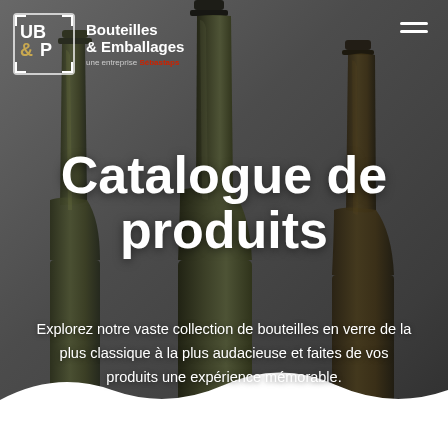[Figure (photo): Dark background with three dark green/brown glass wine bottles in a row, partially visible. Background is a dark grey gradient. White wave shape at the bottom.]
UB&P Bouteilles & Emballages une entreprise Sébastaps
Catalogue de produits
Explorez notre vaste collection de bouteilles en verre de la plus classique à la plus audacieuse et faites de vos produits une expérience mémorable.